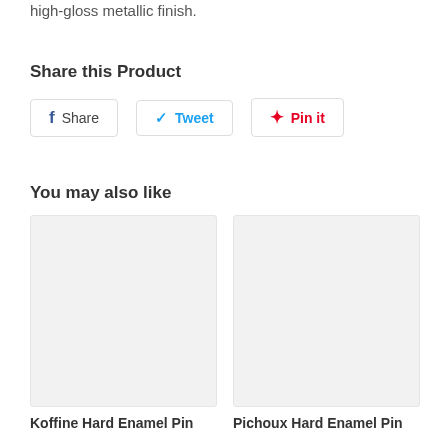high-gloss metallic finish.
Share this Product
[Figure (other): Social sharing buttons: Share (Facebook), Tweet (Twitter), Pin it (Pinterest)]
You may also like
[Figure (photo): Product image placeholder (light gray box) for Koffine Hard Enamel Pin]
Koffine Hard Enamel Pin
[Figure (photo): Product image placeholder (light gray box) for Pichoux Hard Enamel Pin]
Pichoux Hard Enamel Pin